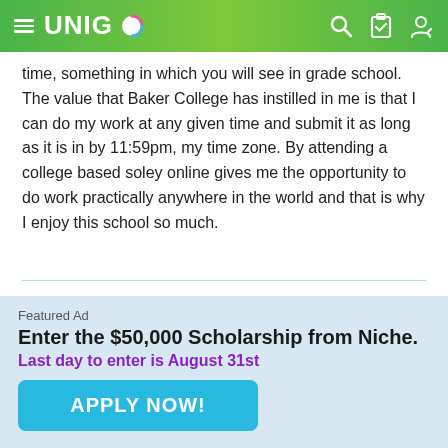UNIGO
time, something in which you will see in grade school. The value that Baker College has instilled in me is that I can do my work at any given time and submit it as long as it is in by 11:59pm, my time zone. By attending a college based soley online gives me the opportunity to do work practically anywhere in the world and that is why I enjoy this school so much.
Angie
d go back in time and visit myself during my
Featured Ad
Enter the $50,000 Scholarship from Niche.
Last day to enter is August 31st
APPLY NOW!